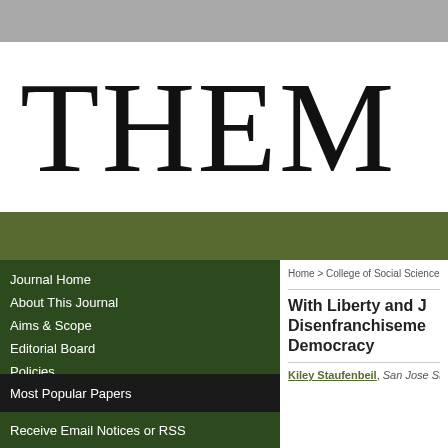THEM
Journal Home
About This Journal
Aims & Scope
Editorial Board
Policies
Most Popular Papers
Receive Email Notices or RSS
Home > College of Social Sciences >
With Liberty and J... Disenfranchisement... Democracy
Kiley Staufenbeil, San Jose State...